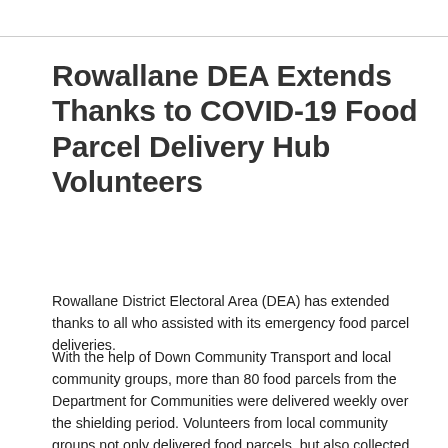Rowallane DEA Extends Thanks to COVID-19 Food Parcel Delivery Hub Volunteers
Rowallane District Electoral Area (DEA) has extended thanks to all who assisted with its emergency food parcel deliveries.
With the help of Down Community Transport and local community groups, more than 80 food parcels from the Department for Communities were delivered weekly over the shielding period. Volunteers from local community groups not only delivered food parcels, but also collected and delivered prescriptions and groceries for those shielding and provided befriending services.
The Chairperson of Rowallane DEA, Councillor Kathryn